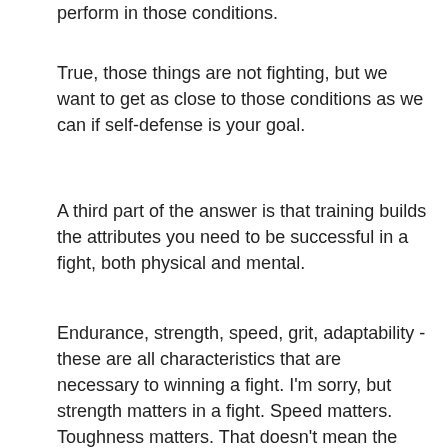perform in those conditions.
True, those things are not fighting, but we want to get as close to those conditions as we can if self-defense is your goal.
A third part of the answer is that training builds the attributes you need to be successful in a fight, both physical and mental.
Endurance, strength, speed, grit, adaptability - these are all characteristics that are necessary to winning a fight. I'm sorry, but strength matters in a fight. Speed matters. Toughness matters. That doesn't mean the strongest or toughest person is always going to win, but an untrained fighter who goes to the gym for hours every day is generally going to outfight the guy who goes to karate class twice a week. Cultivating the right attributes is just as important if not moreso than learning good techniques.